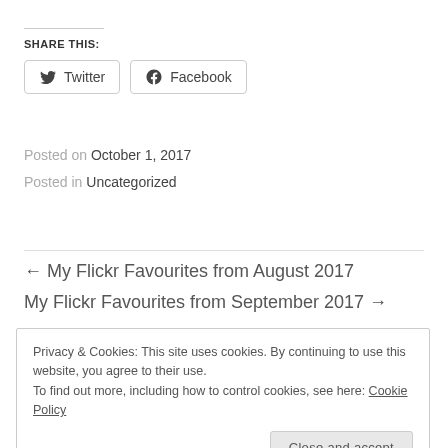SHARE THIS:
[Figure (other): Twitter and Facebook share buttons]
Posted on October 1, 2017
Posted in Uncategorized
← My Flickr Favourites from August 2017
My Flickr Favourites from September 2017 →
Privacy & Cookies: This site uses cookies. By continuing to use this website, you agree to their use. To find out more, including how to control cookies, see here: Cookie Policy